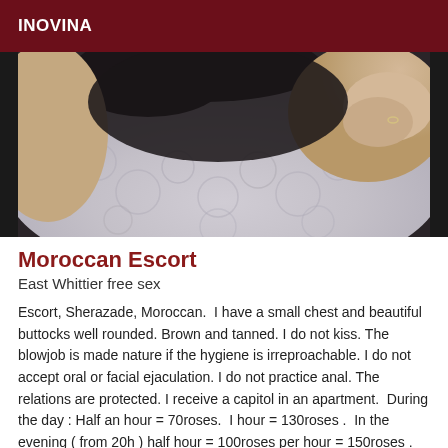INOVINA
[Figure (photo): Close-up photo showing a person's torso and hands against a patterned fabric surface]
Moroccan Escort
East Whittier free sex
Escort, Sherazade, Moroccan.  I have a small chest and beautiful buttocks well rounded. Brown and tanned. I do not kiss. The blowjob is made nature if the hygiene is irreproachable. I do not accept oral or facial ejaculation. I do not practice anal. The relations are protected. I receive a capitol in an apartment.  During the day : Half an hour = 70roses.  I hour = 130roses .  In the evening ( from 20h ) half hour = 100roses per hour = 150roses .